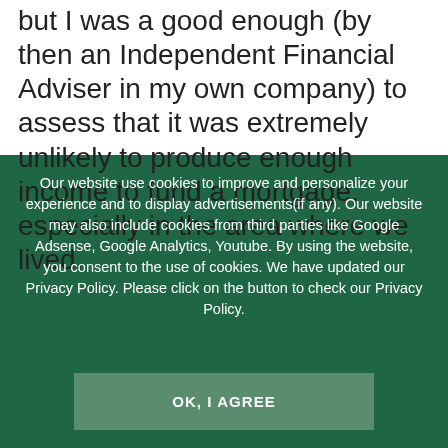but I was a good enough (by then an Independent Financial Adviser in my own company) to assess that it was extremely unlikely to produce enough income to fund a mortgage, especially in the area where we lived.
Our website use cookies to improve and personalize your experience and to display advertisements(if any). Our website may also include cookies from third parties like Google Adsense, Google Analytics, Youtube. By using the website, you consent to the use of cookies. We have updated our Privacy Policy. Please click on the button to check our Privacy Policy.
OK, I AGREE